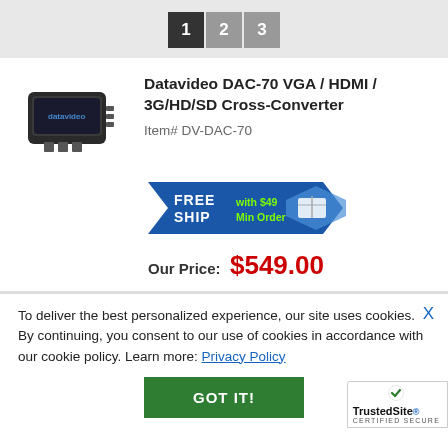1 2 3
Datavideo DAC-70 VGA / HDMI / 3G/HD/SD Cross-Converter
Item# DV-DAC-70
[Figure (infographic): FREE SHIP with $49 Min Order badge in blue and green]
Our Price: $549.00
To deliver the best personalized experience, our site uses cookies. By continuing, you consent to our use of cookies in accordance with our cookie policy. Learn more: Privacy Policy
GOT IT!
[Figure (logo): TrustedSite Certified Secure badge]